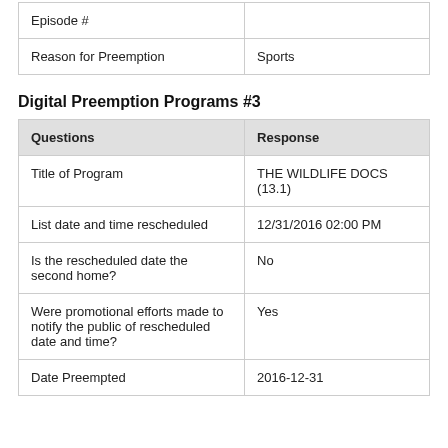| Questions | Response |
| --- | --- |
| Episode # |  |
| Reason for Preemption | Sports |
Digital Preemption Programs #3
| Questions | Response |
| --- | --- |
| Title of Program | THE WILDLIFE DOCS (13.1) |
| List date and time rescheduled | 12/31/2016 02:00 PM |
| Is the rescheduled date the second home? | No |
| Were promotional efforts made to notify the public of rescheduled date and time? | Yes |
| Date Preempted | 2016-12-31 |